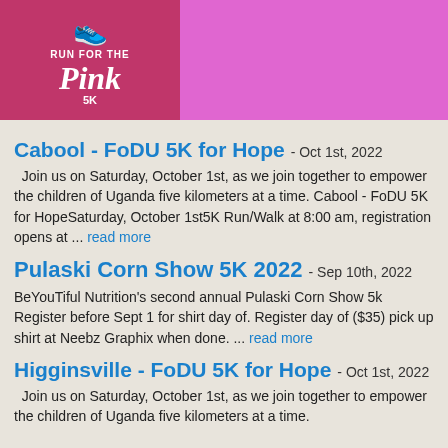[Figure (logo): Run For The Pink 5K logo with shoe icon on pink/crimson background]
Cabool - FoDU 5K for Hope - Oct 1st, 2022
Join us on Saturday, October 1st, as we join together to empower the children of Uganda five kilometers at a time. Cabool - FoDU 5K for HopeSaturday, October 1st5K Run/Walk at 8:00 am, registration opens at ... read more
Pulaski Corn Show 5K 2022 - Sep 10th, 2022
BeYouTiful Nutrition's second annual Pulaski Corn Show 5k Register before Sept 1 for shirt day of. Register day of ($35) pick up shirt at Neebz Graphix when done. ... read more
Higginsville - FoDU 5K for Hope - Oct 1st, 2022
Join us on Saturday, October 1st, as we join together to empower the children of Uganda five kilometers at a time.